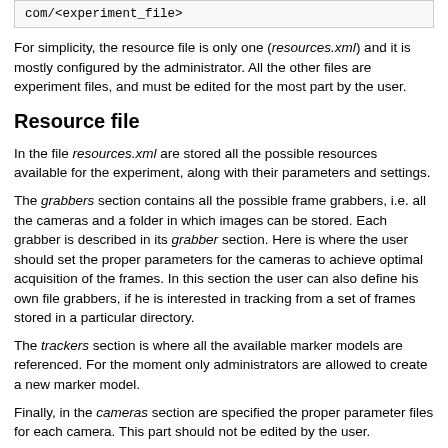com/<experiment_file>
For simplicity, the resource file is only one (resources.xml) and it is mostly configured by the administrator. All the other files are experiment files, and must be edited for the most part by the user.
Resource file
In the file resources.xml are stored all the possible resources available for the experiment, along with their parameters and settings.
The grabbers section contains all the possible frame grabbers, i.e. all the cameras and a folder in which images can be stored. Each grabber is described in its grabber section. Here is where the user should set the proper parameters for the cameras to achieve optimal acquisition of the frames. In this section the user can also define his own file grabbers, if he is interested in tracking from a set of frames stored in a particular directory.
The trackers section is where all the available marker models are referenced. For the moment only administrators are allowed to create a new marker model.
Finally, in the cameras section are specified the proper parameter files for each camera. This part should not be edited by the user.
Any of these features can be recalled in the experiment.xml file by their id parameter.